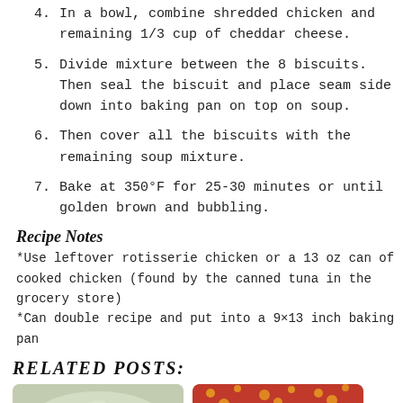4. In a bowl, combine shredded chicken and remaining 1/3 cup of cheddar cheese.
5. Divide mixture between the 8 biscuits. Then seal the biscuit and place seam side down into baking pan on top on soup.
6. Then cover all the biscuits with the remaining soup mixture.
7. Bake at 350°F for 25-30 minutes or until golden brown and bubbling.
Recipe Notes
*Use leftover rotisserie chicken or a 13 oz can of cooked chicken (found by the canned tuna in the grocery store)
*Can double recipe and put into a 9×13 inch baking pan
RELATED POSTS:
[Figure (photo): Photo of pasta dish with cream sauce]
[Figure (photo): Red background with yellow dots and cursive menu text]